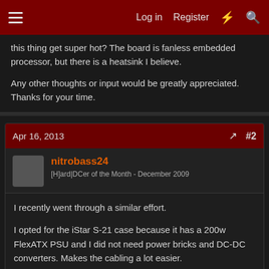Log in  Register  #2
this thing get super hot? The board is fanless embedded processor, but there is a heatsink I believe.
Any other thoughts or input would be greatly appreciated. Thanks for your time.
Apr 16, 2013  #2
nitrobass24
[H]ard|DCer of the Month - December 2009
I recently went through a similar effort.
I opted for the iStar S-21 case because it has a 200w FlexATX PSU and I did not need power bricks and DC-DC converters. Makes the cabling a lot easier.
I really like the internal UPS idea, but with ESXI/Xen/etc. I think you are asking for trouble. Personally just buy a regular